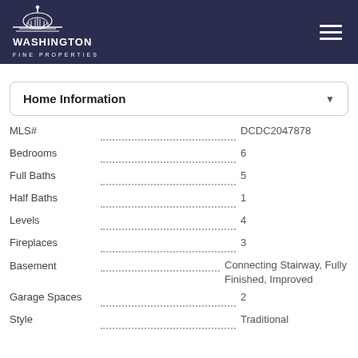[Figure (logo): Washington Fine Properties logo with capitol building icon on dark navy background]
Home Information
| Field | Value |
| --- | --- |
| MLS# | DCDC2047878 |
| Bedrooms | 6 |
| Full Baths | 5 |
| Half Baths | 1 |
| Levels | 4 |
| Fireplaces | 3 |
| Basement | Connecting Stairway, Fully Finished, Improved |
| Garage Spaces | 2 |
| Style | Traditional |